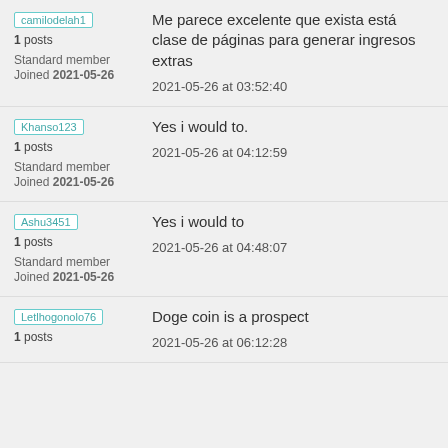camilodelah1
1 posts
Standard member
Joined 2021-05-26
Me parece excelente que exista está clase de páginas para generar ingresos extras
2021-05-26 at 03:52:40
Khanso123
1 posts
Standard member
Joined 2021-05-26
Yes i would to.
2021-05-26 at 04:12:59
Ashu3451
1 posts
Standard member
Joined 2021-05-26
Yes i would to
2021-05-26 at 04:48:07
Letlhogonolo76
1 posts
Doge coin is a prospect
2021-05-26 at 06:12:28